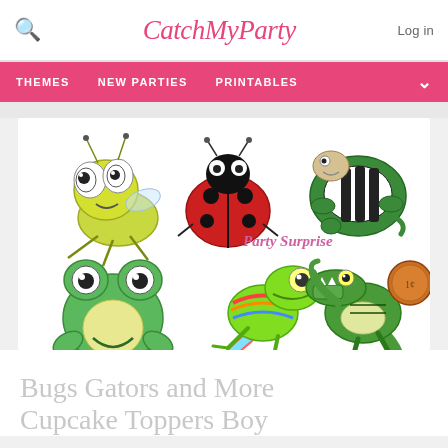CatchMyParty
THEMES   NEW PARTIES   PRINTABLES
[Figure (illustration): Six cute cartoon creatures cupcake toppers: a green bug/grasshopper, a red ladybug, a turtle with black and white striped shell, a green frog, a rainbow chameleon, and a green alligator/gator. Text 'Party Surprise' in pink cursive. A penny coin shown for size reference.]
Bugs Gators and More Cupcake Toppers Boy